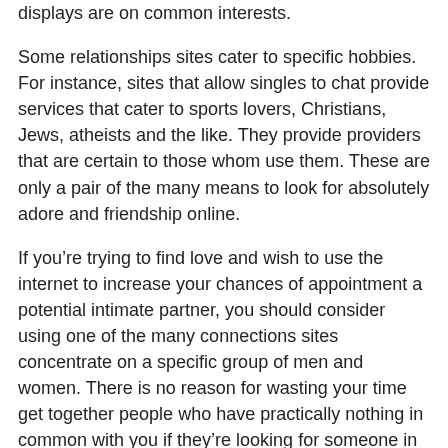displays are on common interests.
Some relationships sites cater to specific hobbies. For instance, sites that allow singles to chat provide services that cater to sports lovers, Christians, Jews, atheists and the like. They provide providers that are certain to those whom use them. These are only a pair of the many means to look for absolutely adore and friendship online.
If you’re trying to find love and wish to use the internet to increase your chances of appointment a potential intimate partner, you should consider using one of the many connections sites concentrate on a specific group of men and women. There is no reason for wasting your time get together people who have practically nothing in common with you if they’re looking for someone in your same niche. Because of this , dating services goal particular categories. You’re more likely to meet somebody who has something in common with you, instead of someone who arbitrarily chose